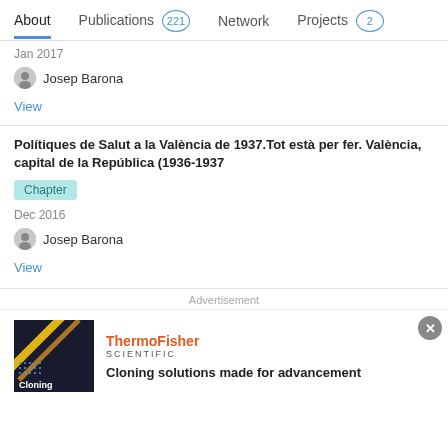About | Publications 221 | Network | Projects 2
Jan 2017
Josep Barona
View
Polítiques de Salut a la València de 1937.Tot està per fer. València, capital de la República (1936-1937
Chapter
Dec 2016
Josep Barona
View
Advertisement
[Figure (other): ThermoFisher Scientific advertisement banner with dark background image showing 'Cloning' text and diagonal yellow/orange lines]
Cloning solutions made for advancement